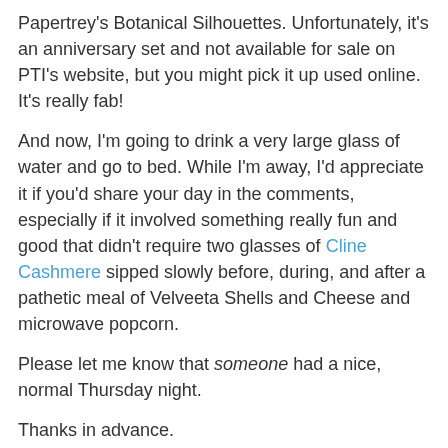Papertrey's Botanical Silhouettes. Unfortunately, it's an anniversary set and not available for sale on PTI's website, but you might pick it up used online. It's really fab!
And now, I'm going to drink a very large glass of water and go to bed. While I'm away, I'd appreciate it if you'd share your day in the comments, especially if it involved something really fun and good that didn't require two glasses of Cline Cashmere sipped slowly before, during, and after a pathetic meal of Velveeta Shells and Cheese and microwave popcorn.
Please let me know that someone had a nice, normal Thursday night.
Thanks in advance.
Supplies
stamps: Papertrey Square Prints, Botanical Silhouettes
ink: Memento
paper: Papertrey
accessories: not a blessed one